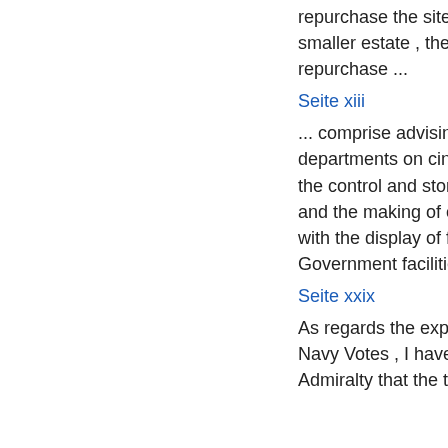repurchase the sites . In the case of the smaller estate , the option is to repurchase ...
Seite xiii
... comprise advising Government departments on cinematograph matters , the control and storage of official films , and the making of contracts in connexion with the display of films for which Government facilities are provided .
Seite xxix
As regards the expenditure defrayed from Navy Votes , I have been informed by the Admiralty that the total extra expenditure